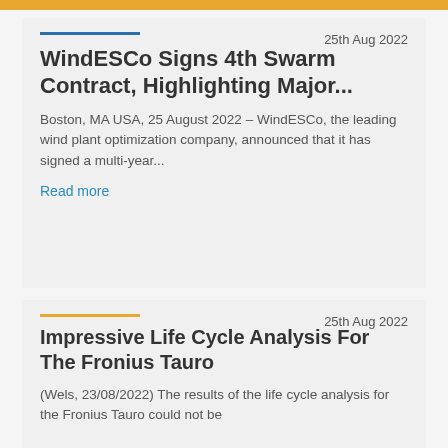25th Aug 2022
WindESCo Signs 4th Swarm Contract, Highlighting Major...
Boston, MA USA, 25 August 2022 – WindESCo, the leading wind plant optimization company, announced that it has signed a multi-year...
Read more
25th Aug 2022
Impressive Life Cycle Analysis For The Fronius Tauro
(Wels, 23/08/2022) The results of the life cycle analysis for the Fronius Tauro could not be